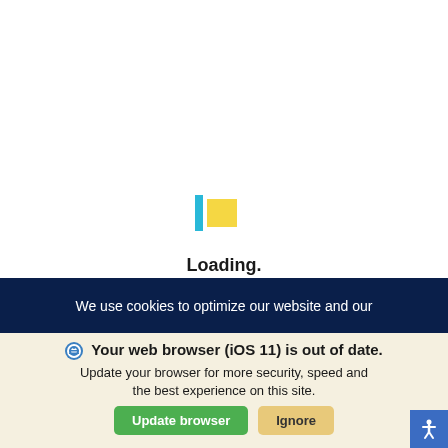[Figure (logo): A cyan vertical bar and a yellow square forming a stylized logo icon]
Loading.
We use cookies to optimize our website and our
Your web browser (iOS 11) is out of date. Update your browser for more security, speed and the best experience on this site.
Update browser
Ignore